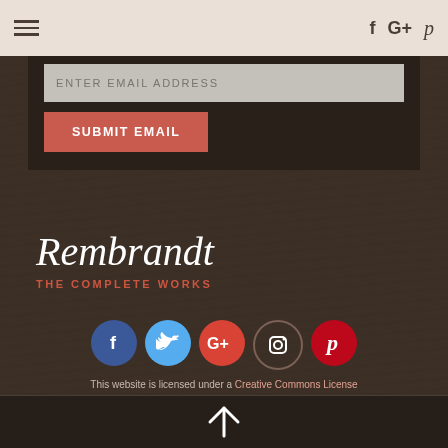≡   f G+ p
ENTER EMAIL ADDRESS
SUBMIT EMAIL
Rembrandt
THE COMPLETE WORKS
[Figure (infographic): Row of 5 social media icons: Facebook (blue circle with f), Twitter (light blue circle with bird), Google+ (red circle with G+), Instagram (dark circle with camera), Pinterest (red circle with P)]
This website is licensed under a Creative Commons License
Copyright © 2002-2017 rembrandtonline.org
[Figure (illustration): White upward-pointing arrow icon centered at bottom]